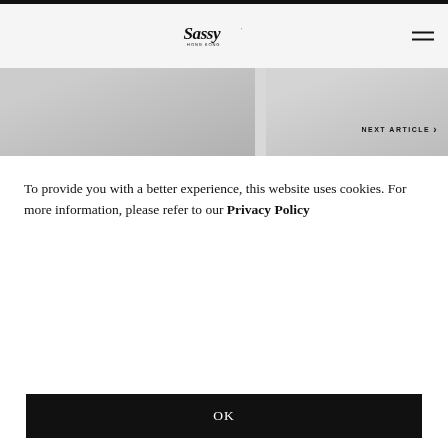Sassy Hong Kong website screenshot
[Figure (logo): Sassy Hong Kong cursive logo in black]
SHARE
[Figure (photo): Hero image strip showing two article thumbnails]
NEXT ARTICLE >
BEAUTY
Bring Back A Youthful Glow With Hong Kong's First And Only Facial Exercise Treatment
BEAUTY
Top Eyebrow Services Hong Kong: Microblading, Threading, Brow Ti
To provide you with a better experience, this website uses cookies. For more information, please refer to our Privacy Policy
OK